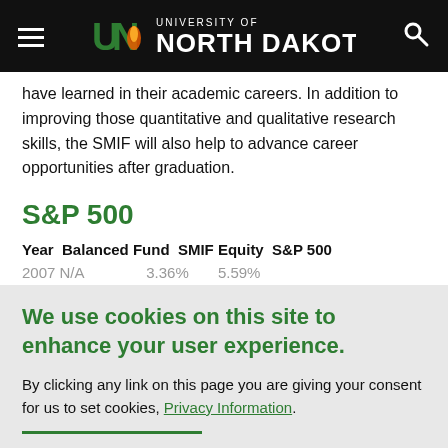University of North Dakota
have learned in their academic careers. In addition to improving those quantitative and qualitative research skills, the SMIF will also help to advance career opportunities after graduation.
S&P 500
| Year | Balanced Fund | SMIF Equity | S&P 500 |
| --- | --- | --- | --- |
| 2007 | N/A | 3.36% | 5.59% |
We use cookies on this site to enhance your user experience.
By clicking any link on this page you are giving your consent for us to set cookies, Privacy Information.